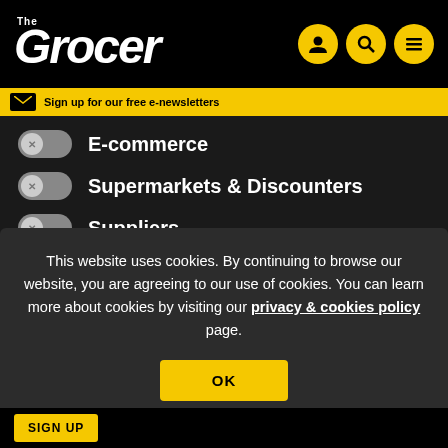The Grocer
E-commerce
Supermarkets & Discounters
Suppliers
New Product Development (partially visible)
This website uses cookies. By continuing to browse our website, you are agreeing to our use of cookies. You can learn more about cookies by visiting our privacy & cookies policy page.
OK
SIGN UP